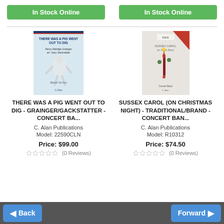In Stock Online
In Stock Online
[Figure (illustration): Book cover: There Was A Pig Went Out To Dig - Grainger/Gackstatter, Band Series]
THERE WAS A PIG WENT OUT TO DIG - GRAINGER/GACKSTATTER - CONCERT BA...
C. Alan Publications
Model: 22590CLN
Price: $99.00
(0 Reviews)
[Figure (illustration): Book cover: Sussex Carol (On Christmas Night) - Traditional/Brand, Concert Band]
SUSSEX CAROL (ON CHRISTMAS NIGHT) - TRADITIONAL/BRAND - CONCERT BAN...
C. Alan Publications
Model: R10312
Price: $74.50
(0 Reviews)
Back | Forward